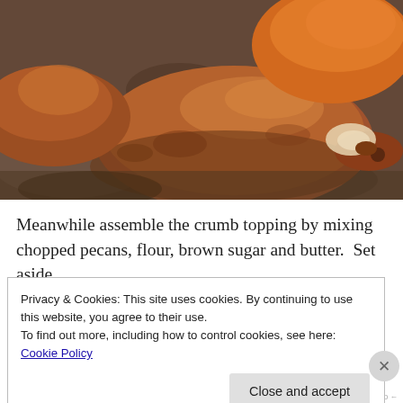[Figure (photo): Close-up photo of baked sweet potatoes or yams on a stone/slate surface, showing golden-brown and reddish-brown roasted skin with caramelized texture]
Meanwhile assemble the crumb topping by mixing chopped pecans, flour, brown sugar and butter.  Set aside.
Privacy & Cookies: This site uses cookies. By continuing to use this website, you agree to their use.
To find out more, including how to control cookies, see here: Cookie Policy
Close and accept